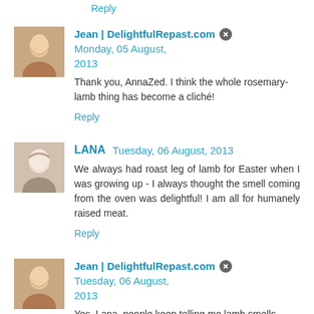Reply
Jean | DelightfulRepast.com  Monday, 05 August, 2013
Thank you, AnnaZed. I think the whole rosemary-lamb thing has become a cliché!
Reply
LANA  Tuesday, 06 August, 2013
We always had roast leg of lamb for Easter when I was growing up - I always thought the smell coming from the oven was delightful! I am all for humanely raised meat.
Reply
Jean | DelightfulRepast.com  Tuesday, 06 August, 2013
Yes, Lana, people keep telling me lamb smells "delightful,"